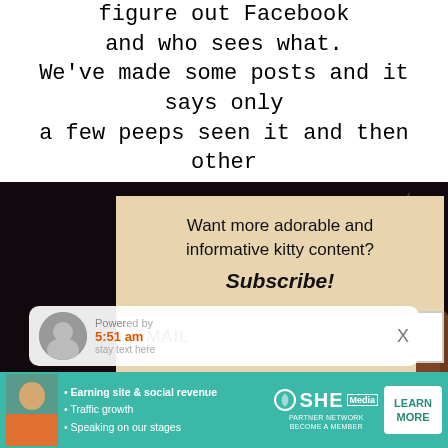figure out Facebook and who sees what. We've made some posts and it says only a few peeps seen it and then other
[Figure (screenshot): Email subscription modal popup with beige/tan background, asking 'Want more adorable and informative kitty content? Subscribe!' with an email input field and submit button, overlaid on a dark background with a cat photo]
[Figure (photo): Close-up photo of a brown/orange tabby cat with green eyes against a dark background]
[Figure (screenshot): Bottom notification bar showing a small avatar, 'Powered by' text, orange timestamp '5:51 am', and description text, with an X close button on the right]
[Figure (infographic): SHE Partner Network advertisement banner with teal/green background, showing a woman, bullet points about earning site & social revenue, traffic growth, speaking on stages, SHE logo, and Learn More button]